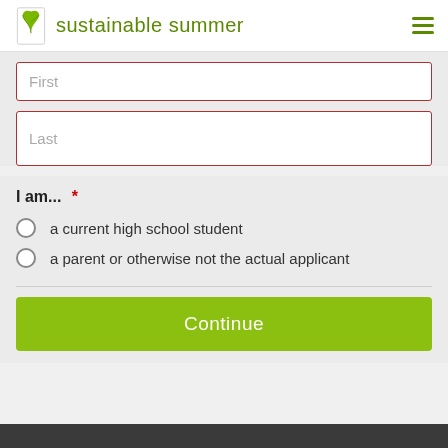sustainable summer
First
Last
I am... *
a current high school student
a parent or otherwise not the actual applicant
Continue